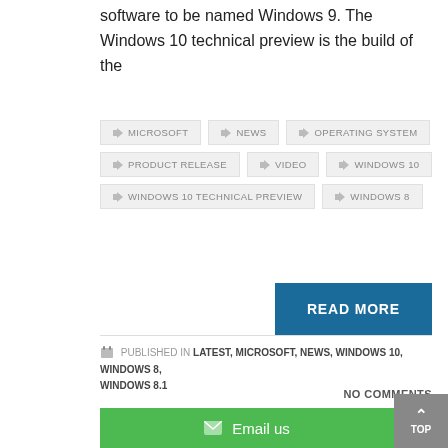software to be named Windows 9. The Windows 10 technical preview is the build of the
MICROSOFT
NEWS
OPERATING SYSTEM
PRODUCT RELEASE
VIDEO
WINDOWS 10
WINDOWS 10 TECHNICAL PREVIEW
WINDOWS 8
READ MORE
PUBLISHED IN LATEST, MICROSOFT, NEWS, WINDOWS 10, WINDOWS 8, WINDOWS 8.1
NO COMMENTS
< 1 2 3 4 5 6
Email us
TOP